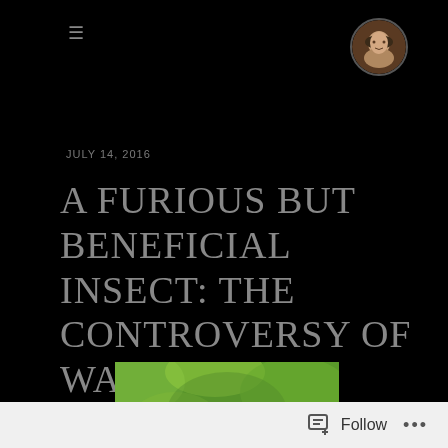[Figure (screenshot): Hamburger/menu icon (three horizontal lines) in dark gray on black background]
[Figure (photo): Circular avatar portrait photo of a person wearing a hat, smiling]
JULY 14, 2016
A FURIOUS BUT BENEFICIAL INSECT: THE CONTROVERSY OF WASPS
[Figure (photo): Close-up macro photograph of a wasp on green foliage background]
Follow ...